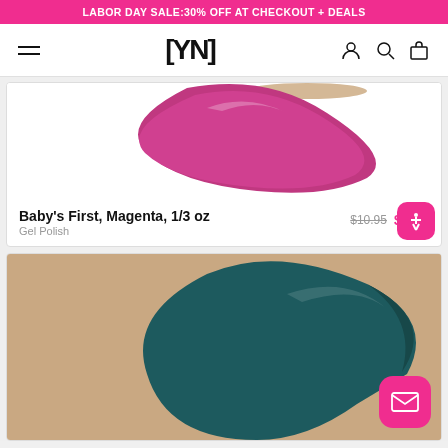LABOR DAY SALE: 30% OFF AT CHECKOUT + DEALS
[Figure (logo): Young Nails [YN] logo with hamburger menu, person, search, and bag icons in navigation bar]
[Figure (photo): Baby's First Magenta gel polish nail swatch - magenta/purple color blob]
Baby's First, Magenta, 1/3 oz
Gel Polish
$10.95  $7.67
[Figure (photo): Teal/dark green gel polish nail swatch on a light brown background]